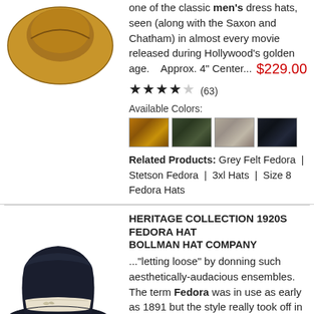[Figure (photo): Brown felt fedora hat, top view showing brim]
one of the classic men's dress hats, seen (along with the Saxon and Chatham) in almost every movie released during Hollywood's golden age.   Approx. 4" Center...
★★★★☆ (63)   $229.00
Available Colors:
[Figure (other): Four color swatches: brown, dark green, grey/beige, dark navy]
Related Products: Grey Felt Fedora | Stetson Fedora | 3xl Hats | Size 8 Fedora Hats
HERITAGE COLLECTION 1920S
FEDORA HAT
BOLLMAN HAT COMPANY
[Figure (photo): Dark navy felt fedora hat with white/cream band, side view]
..."letting loose" by donning such aesthetically-audacious ensembles. The term Fedora was in use as early as 1891 but the style really took off in the Twenties, topping off men's fashion during a golden